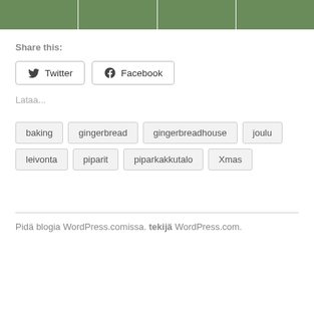[Figure (photo): Four Christmas-themed photos in a horizontal strip showing gingerbread decorations, holiday greenery, and baked goods]
Share this:
Twitter  Facebook
Lataa...
baking
gingerbread
gingerbreadhouse
joulu
leivonta
piparit
piparkakkutalo
Xmas
Pidä blogia WordPress.comissa. tekijä WordPress.com.